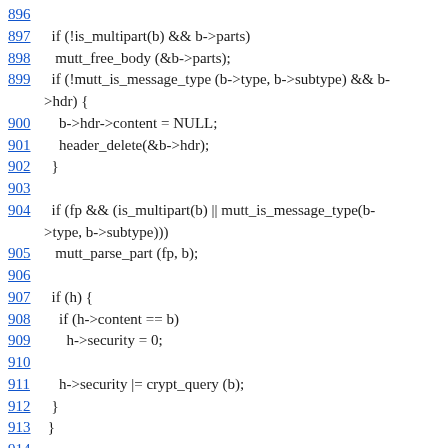896
897  if (!is_multipart(b) && b->parts)
898   mutt_free_body (&b->parts);
899  if (!mutt_is_message_type (b->type, b->subtype) && b->hdr) {
900    b->hdr->content = NULL;
901    header_delete(&b->hdr);
902  }
903
904  if (fp && (is_multipart(b) || mutt_is_message_type(b->type, b->subtype)))
905   mutt_parse_part (fp, b);
906
907  if (h) {
908    if (h->content == b)
909      h->security = 0;
910
911    h->security |= crypt_query (b);
912  }
913 }
914
915
916
static int _mutt_check_traditional_pgp (HEADER * h, int *redraw)
917 {